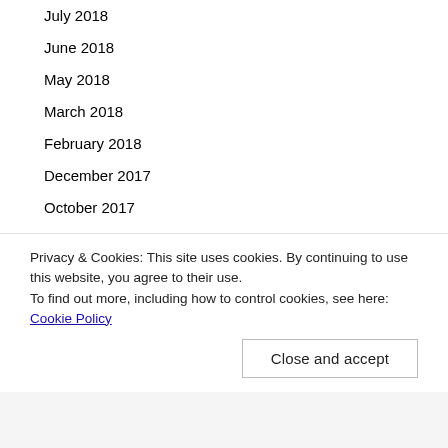July 2018
June 2018
May 2018
March 2018
February 2018
December 2017
October 2017
August 2017
July 2017
June 2017
May 2017
April 2017
March 2017
Privacy & Cookies: This site uses cookies. By continuing to use this website, you agree to their use.
To find out more, including how to control cookies, see here: Cookie Policy
Close and accept